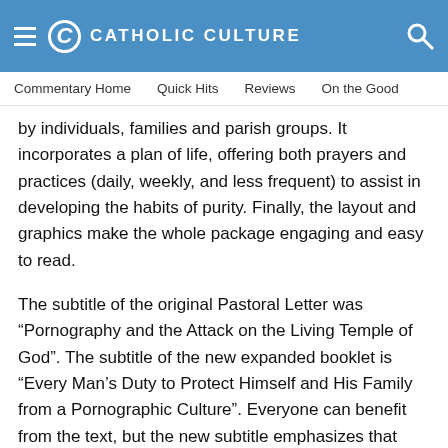CATHOLIC CULTURE
Commentary Home   Quick Hits   Reviews   On the Good
by individuals, families and parish groups. It incorporates a plan of life, offering both prayers and practices (daily, weekly, and less frequent) to assist in developing the habits of purity. Finally, the layout and graphics make the whole package engaging and easy to read.
The subtitle of the original Pastoral Letter was “Pornography and the Attack on the Living Temple of God”. The subtitle of the new expanded booklet is “Every Man’s Duty to Protect Himself and His Family from a Pornographic Culture”. Everyone can benefit from the text, but the new subtitle emphasizes that pornography is overwhelmingly (though not exclusively) a male temptation, a temptation that leads to a culture which persistently victimizes women and